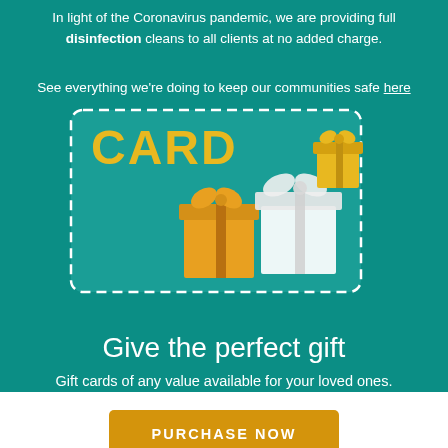In light of the Coronavirus pandemic, we are providing full disinfection cleans to all clients at no added charge.
See everything we're doing to keep our communities safe here
[Figure (illustration): Gift card graphic with teal background and dashed border containing the word CARD in yellow/teal text and three gift boxes — one orange/yellow, one white, one yellow — illustrated icons]
Give the perfect gift
Gift cards of any value available for your loved ones.
PURCHASE NOW